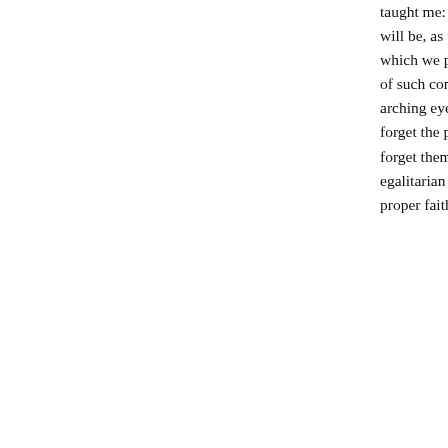taught me: that I needn't bother.  Film has been, is, and will be, as profound and sophisticated as all the other arts to which we pay the most careful deference.  But a broadening of such comparisons, of the hierarchy, of a world of arching eyebrows.  Forget the staking out of artistic turf, forget the painterly, the literary and the theatrical, or rather forget them as lines along which to do battle.  Art is an egalitarian realm.  One art can only aid another, if met with proper faith.  That is our new idea.
Bibliography
Conway, Stephen. "Rhythm and Blues: Strindberg's Chamber Plays." Sub Verbis: Stephen Conway. 1993. <http://subverbis.com>.
Knopf, Robert. Theater and Film: A Comparative Anthology. New Haven: Yale University Press, 2005.
Strindberg, August, Walter Gilbert Johnson, and .Intima teatern.  Open Letters to the Intimate Theater. University of Washington Press, 1966.
Strindberg, August, and Joe Martin. Strindberg-O...